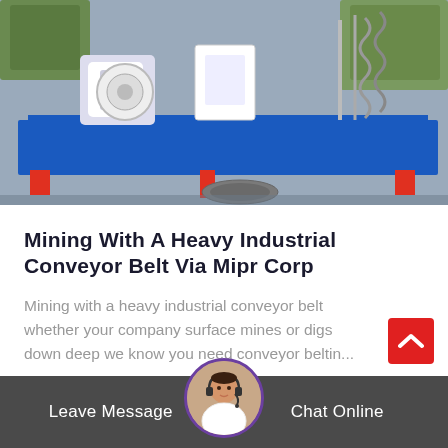[Figure (photo): Industrial conveyor belt equipment on a blue frame, with white machinery components, photographed outdoors on a concrete surface.]
Mining With A Heavy Industrial Conveyor Belt Via Mipr Corp
Mining with a heavy industrial conveyor belt whether your company surface mines or digs down deep we know you need conveyor beltin...
[Figure (photo): Customer service avatar: woman with headset in circular badge, with Leave Message and Chat Online buttons on dark grey bar.]